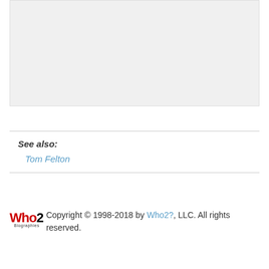[Figure (other): Gray placeholder box at the top of the page]
See also:
Tom Felton
Who2? Biographies Copyright © 1998-2018 by Who2?, LLC. All rights reserved.